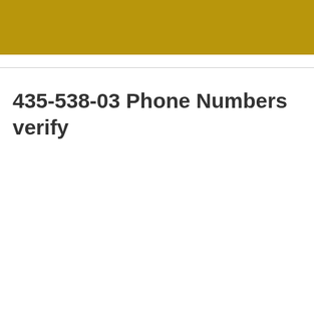435-538-03 Phone Numbers verify